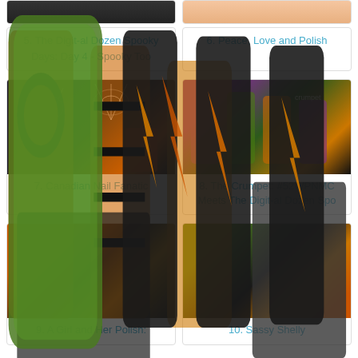[Figure (photo): Nail art photo - partial top of card 5, dark nails]
5. The Digit-al Dozen Spooky Days: Day 4 - Spooky Too
[Figure (photo): Nail art photo - partial top of card 6, light skin tone nails]
6. Peace, Love and Polish
[Figure (photo): Nail art photo - spiderweb nails on dark base with orange glitter accent nail]
7. Canadian Nail Fanatic
[Figure (photo): Nail art photo - colorful Halloween themed nails with purple, orange, green on dark base, labeled crumpet]
8. The Crumpet: #52WPNMC Meets The Digit-al Dozen Spo
[Figure (photo): Nail art photo - Halloween pumpkin nails with orange and black stripes, nail polish bottle visible]
9. A Girl and Her Polish:
[Figure (photo): Nail art photo - green glitter polish bottle with black nails featuring orange and gold lightning bolt designs]
10. Sassy Shelly